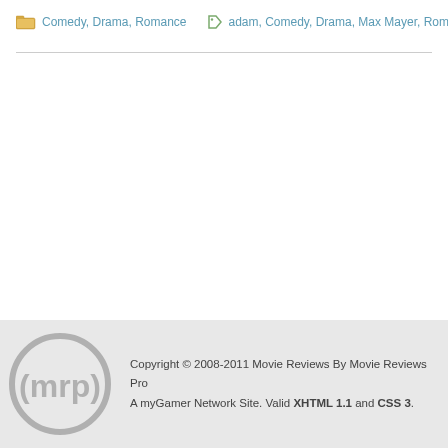Comedy, Drama, Romance   adam, Comedy, Drama, Max Mayer, Romance
Copyright © 2008-2011 Movie Reviews By Movie Reviews Pro A myGamer Network Site. Valid XHTML 1.1 and CSS 3.